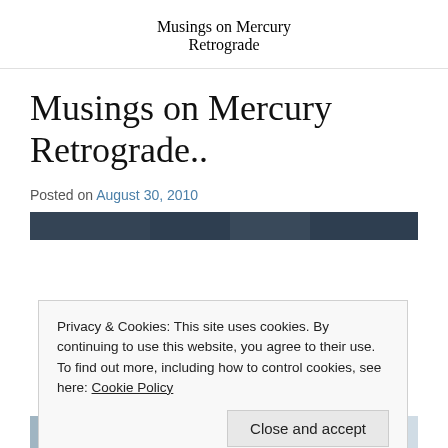Musings on Mercury Retrograde
Musings on Mercury Retrograde..
Posted on August 30, 2010
[Figure (photo): Dark banner image strip, partial view of figures]
Privacy & Cookies: This site uses cookies. By continuing to use this website, you agree to their use.
To find out more, including how to control cookies, see here: Cookie Policy
Close and accept
[Figure (photo): Bottom image strip showing partial view of people]